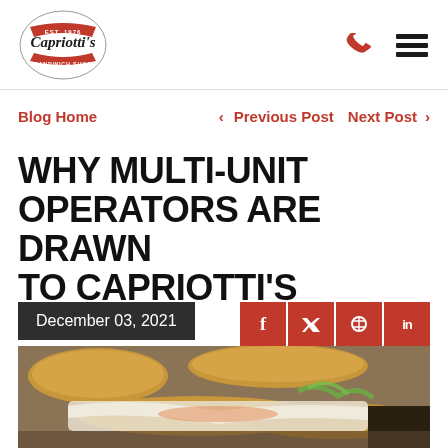Capriotti's Sandwich Shop — navigation header with logo, phone icon, and menu icon
Blog Home   < Previous Post   Next Post >
WHY MULTI-UNIT OPERATORS ARE DRAWN TO CAPRIOTTI'S
[Figure (photo): Photo of Capriotti's sandwiches with date bar showing 'December 03, 2021' and social share buttons for Facebook, Twitter, Pinterest, and LinkedIn]
December 03, 2021